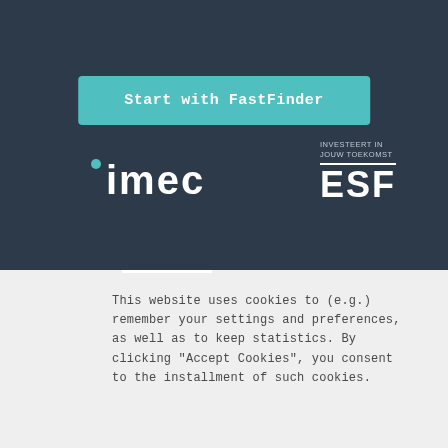[Figure (screenshot): Dark navy background top section of a webpage]
Start with FastFinder
[Figure (logo): imec logo in white on dark navy background]
[Figure (logo): ESF logo with text INVESTEERT IN JOUW TOEKOMST and large ESF letters in white]
This website uses cookies to (e.g.) remember your settings and preferences, as well as to keep statistics. By clicking “Accept Cookies”, you consent to the installment of such cookies.
Accept cookies
Block cookies